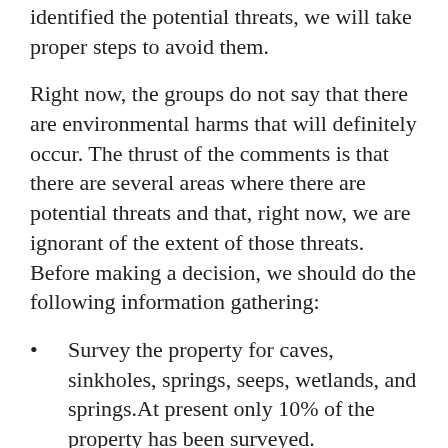identified the potential threats, we will take proper steps to avoid them.
Right now, the groups do not say that there are environmental harms that will definitely occur. The thrust of the comments is that there are several areas where there are potential threats and that, right now, we are ignorant of the extent of those threats. Before making a decision, we should do the following information gathering:
Survey the property for caves, sinkholes, springs, seeps, wetlands, and springs. At present only 10% of the property has been surveyed.
Consider the project's potential to introduce invasive species to the site and consider what